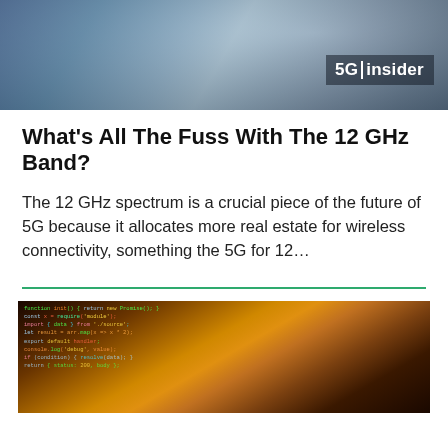[Figure (photo): Header banner image with blurred sky/tech background and 5G Insider logo in bottom right corner]
What's All The Fuss With The 12 GHz Band?
The 12 GHz spectrum is a crucial piece of the future of 5G because it allocates more real estate for wireless connectivity, something the 5G for 12…
[Figure (photo): Close-up photo of a computer screen showing colorful code/programming text on dark background with orange/warm tones]